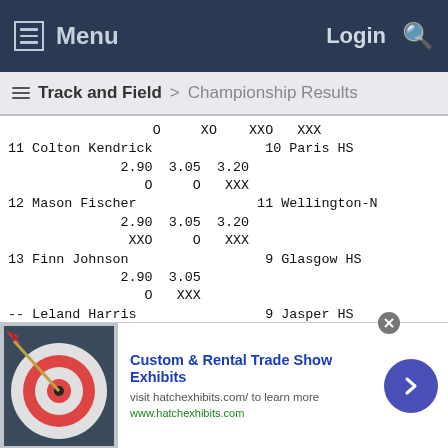Menu  Login
Track and Field > Championship Results
| Place | Athlete | Grade | School | Heights |
| --- | --- | --- | --- | --- |
| 11 | Colton Kendrick | 10 | Paris HS | O XO XXO XXX
2.90 3.05 3.20
O   O  XXX |
| 12 | Mason Fischer | 11 | Wellington-N | O XO XXO XXX
2.90 3.05 3.20
XXO  O  XXX |
| 13 | Finn Johnson | 9 | Glasgow HS | 2.90 3.05
O  XXX |
| -- | Leland Harris | 9 | Jasper HS | 2.90
XXX |
| -- | Eli Birdsong | 11 | Newburg HS | 2.90
XXX |
[Figure (screenshot): Advertisement banner for Custom & Rental Trade Show Exhibits by hatchexhibits.com, featuring a dart board image on the left, ad text in the center, and a blue arrow button on the right.]